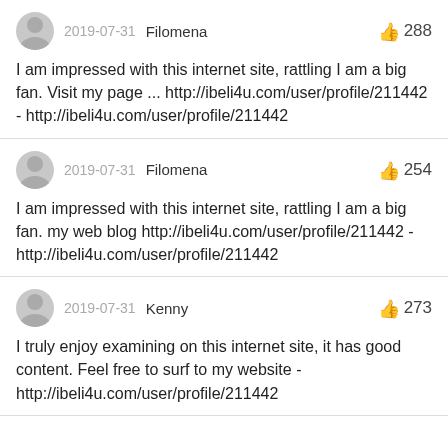2019-07-31  Filomena  👍 288
I am impressed with this internet site, rattling I am a big fan. Visit my page ... http://ibeli4u.com/user/profile/211442 - http://ibeli4u.com/user/profile/211442
2019-07-31  Filomena  👍 254
I am impressed with this internet site, rattling I am a big fan. my web blog http://ibeli4u.com/user/profile/211442 - http://ibeli4u.com/user/profile/211442
2019-07-31  Kenny  👍 273
I truly enjoy examining on this internet site, it has good content. Feel free to surf to my website - http://ibeli4u.com/user/profile/211442